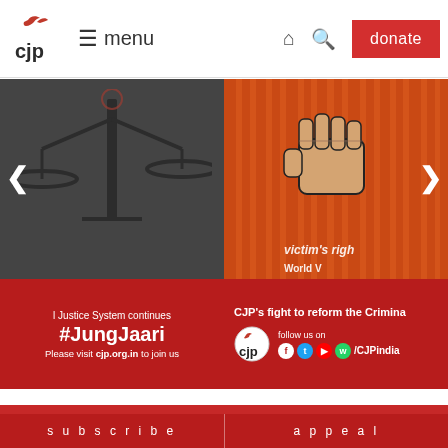[Figure (screenshot): CJP website navigation bar with logo, menu, home icon, search icon, and donate button]
[Figure (photo): Two-panel image slider: left panel shows black and white scales of justice with red banner '#JungJaari' and text 'Please visit cjp.org.in to join us'; right panel shows orange/red background with fist image, text 'victim's right' and 'World V', with CJP logo and social media follow info]
[Figure (screenshot): Bottom section showing red background with Hindi script text on right side]
subscribe   appeal